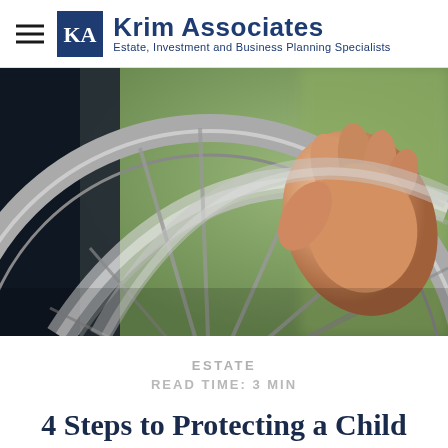Krim Associates — Estate, Investment and Business Planning Specialists
[Figure (photo): Close-up photo of a person's hand gripping a wheelchair wheel, with blurred green background.]
ESTATE
READ TIME: 3 MIN
4 Steps to Protecting a Child